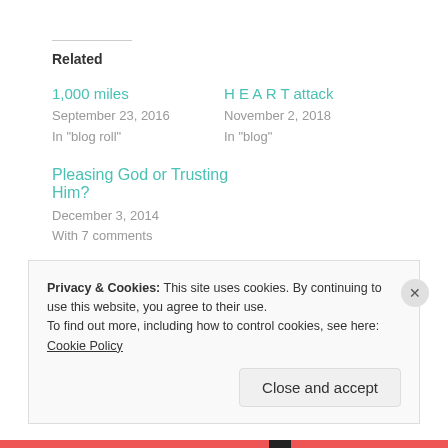Related
1,000 miles
September 23, 2016
In "blog roll"
H E A R T attack
November 2, 2018
In "blog"
Pleasing God or Trusting Him?
December 3, 2014
With 7 comments
Privacy & Cookies: This site uses cookies. By continuing to use this website, you agree to their use.
To find out more, including how to control cookies, see here: Cookie Policy
Close and accept